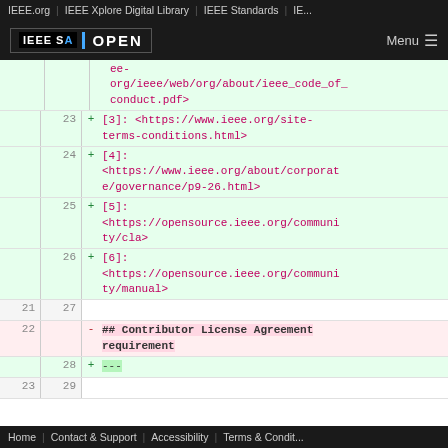IEEE.org | IEEE Xplore Digital Library | IEEE Standards | IE...
[Figure (screenshot): IEEE SA OPEN logo with dark background navigation bar and Menu button]
ee-org/ieee/web/org/about/ieee_code_of_conduct.pdf>
23  + [3]: <https://www.ieee.org/site-terms-conditions.html>
24  + [4]: <https://www.ieee.org/about/corporate/governance/p9-26.html>
25  + [5]: <https://opensource.ieee.org/community/cla>
26  + [6]: <https://opensource.ieee.org/community/manual>
21  27
22  - ## Contributor License Agreement requirement
28  + ---
23  29
Home | Contact & Support | Accessibility | Terms & Condit...